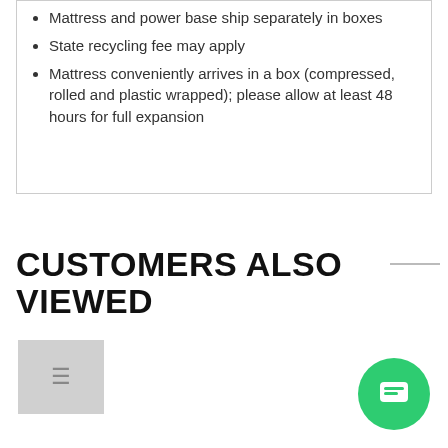Mattress and power base ship separately in boxes
State recycling fee may apply
Mattress conveniently arrives in a box (compressed, rolled and plastic wrapped); please allow at least 48 hours for full expansion
CUSTOMERS ALSO VIEWED
[Figure (photo): Two floor lamp product images shown side by side, partially visible. A gray placeholder box with an icon on the left side.]